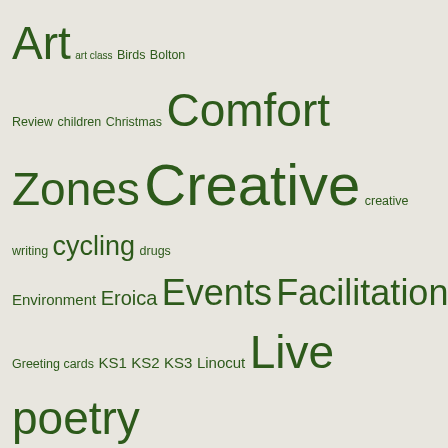[Figure (other): Tag cloud with words of varying sizes in dark green on a light beige background. Topics include Art, Creative, Events, Facilitation, Live poetry, My poems, Performance, Photography, poetry, Rochdale, Schools and young people, The Business of Writing, Workshops, Writing, and many others.]